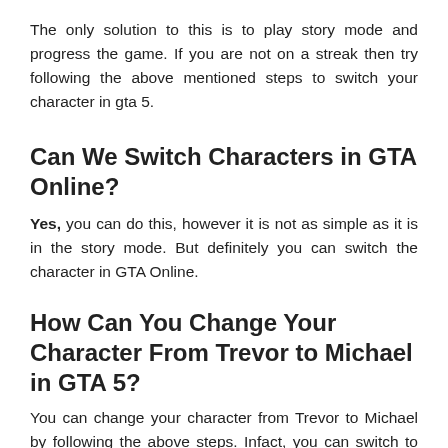The only solution to this is to play story mode and progress the game. If you are not on a streak then try following the above mentioned steps to switch your character in gta 5.
Can We Switch Characters in GTA Online?
Yes, you can do this, however it is not as simple as it is in the story mode. But definitely you can switch the character in GTA Online.
How Can You Change Your Character From Trevor to Michael in GTA 5?
You can change your character from Trevor to Michael by following the above steps. Infact, you can switch to any character you wish to.